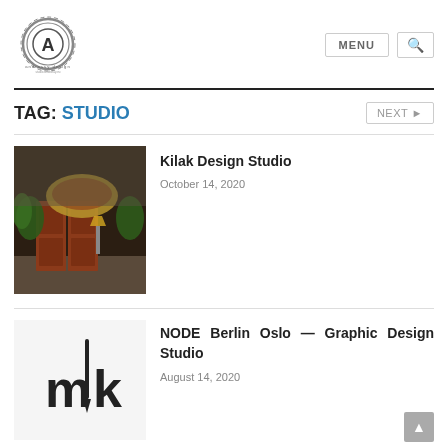[Figure (logo): Andrassy Design logo — circular gear/ring emblem with stylized A inside, and text 'andrassy design' below]
MENU  🔍
TAG: STUDIO
[Figure (photo): Interior photo of a design studio showing ornate wooden double doors with gold decorative carved arch, flanked by lush green plants, warm lighting, and stone walls]
Kilak Design Studio
October 14, 2020
[Figure (logo): Black stylized logo showing letters 'm' and 'k' with a pencil/pen element incorporated into the design]
NODE Berlin Oslo — Graphic Design Studio
August 14, 2020